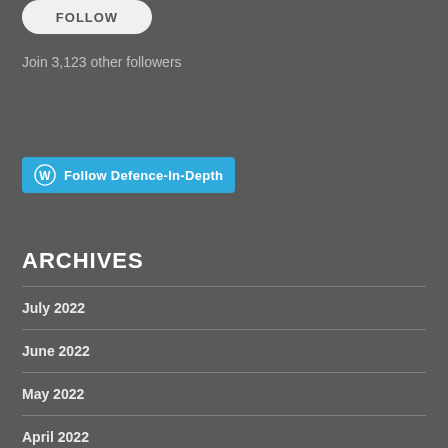[Figure (other): FOLLOW button — white rounded rectangle with grey FOLLOW text]
Join 3,123 other followers
[Figure (other): WordPress Follow Defence-In-Depth button — blue rectangle with WP logo and white bold text]
ARCHIVES
July 2022
June 2022
May 2022
April 2022